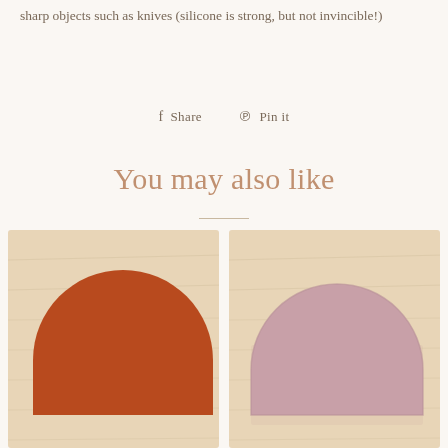sharp objects such as knives (silicone is strong, but not invincible!)
Share   Pin it
You may also like
[Figure (photo): Two semicircular silicone placemats on a wooden surface: left one is terracotta/burnt orange, right one is dusty pink/mauve]
[Figure (photo): Dusty pink/mauve semicircular silicone placemat on wooden surface]